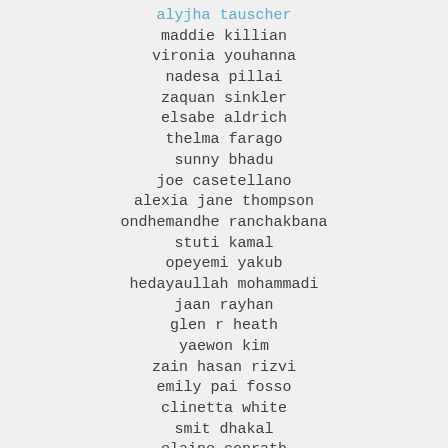alyjha tauscher
maddie killian
vironia youhanna
nadesa pillai
zaquan sinkler
elsabe aldrich
thelma farago
sunny bhadu
joe casetellano
alexia jane thompson
ondhemandhe ranchakbana
stuti kamal
opeyemi yakub
hedayaullah mohammadi
jaan rayhan
glen r heath
yaewon kim
zain hasan rizvi
emily pai fosso
clinetta white
smit dhakal
elaine conrath
john nuernberg
muditha katuwawala